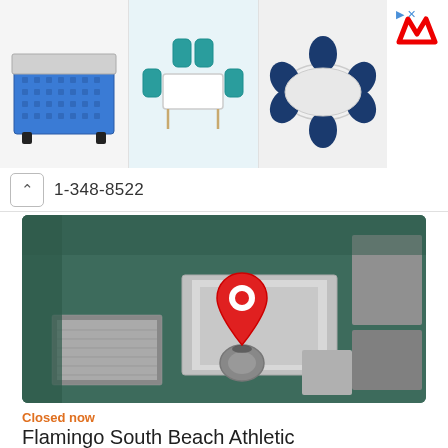[Figure (photo): Advertisement banner with three furniture images: a blue storage box, a dining table with teal chairs, and a round dining table with dark blue chairs. Red M logo on the right.]
1-348-8522
[Figure (map): Aerial/satellite map view with a red location pin marker showing the location of Flamingo South Beach Athletic facility.]
Closed now
Flamingo South Beach Athletic
Establishment  Health  Gym